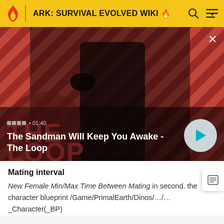ARK: SURVIVAL EVOLVED WIKI
[Figure (screenshot): Video thumbnail showing a man in dark clothing with a crow on his shoulder against a red and black diagonal striped background. Overlay text shows 'The Sandman Will Keep You Awake - The Loop' with a play button. Duration shown as 01:40.]
Mating interval
New Female Min/Max Time Between Mating in second. the character blueprint /Game/PrimalEarth/Dinos/…/…_Character(_BP)